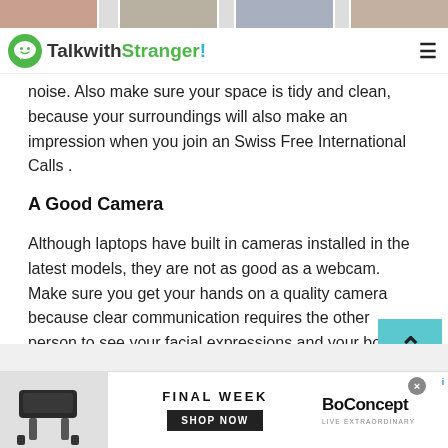[Figure (photo): Top strip of partial face/profile images across the page width]
TalkwithStranger!
noise. Also make sure your space is tidy and clean, because your surroundings will also make an impression when you join an Swiss Free International Calls .
A Good Camera
Although laptops have built in cameras installed in the latest models, they are not as good as a webcam. Make sure you get your hands on a quality camera because clear communication requires the other person to see your facial expressions and your body language as clearly as possible.
[Figure (screenshot): Advertisement banner: BoConcept furniture ad with FINAL WEEK text and SHOP NOW button]